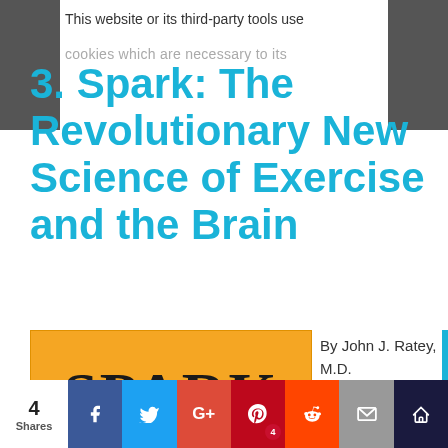This website or its third-party tools use cookies which are necessary to its
3. Spark: The Revolutionary New Science of Exercise and the Brain
[Figure (illustration): Book cover of SPARK with orange background and large bold serif text reading SPARK, subtitle THE REVOLUTIONARY NEW SCIENCE OF EXERCISE AND THE BRAIN]
By John J. Ratey, M.D.
The tagline on the cover of this book is,